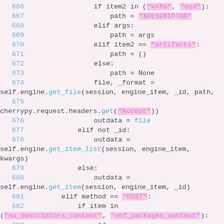[Figure (screenshot): Source code snippet showing Python code lines 666-683 with syntax highlighting. Pink background, blue line numbers, teal keywords, pink string highlights.]